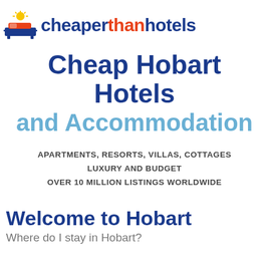[Figure (logo): CheaperThanHotels logo: bed icon with sun, text 'cheaperthanhotels' with 'than' in red and rest in dark blue]
Cheap Hobart Hotels and Accommodation
APARTMENTS, RESORTS, VILLAS, COTTAGES
LUXURY AND BUDGET
OVER 10 MILLION LISTINGS WORLDWIDE
Welcome to Hobart
Where do I stay in Hobart?